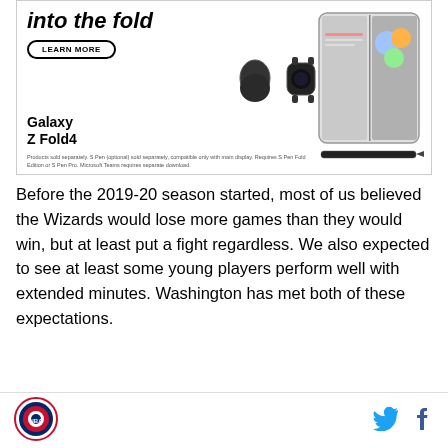[Figure (photo): Samsung Galaxy Z Fold4 advertisement showing a foldable phone, smartwatch, earbuds, and stylus. Text reads 'into the fold', 'LEARN MORE' button, 'Galaxy Z Fold4'. Footnote: 'Products sold separately. S Pen (optional) sold separately, compatible only with main display. Requires S Pen Fold Edition or S Pen Pro. Microsoft Teams requires separate download.']
Before the 2019-20 season started, most of us believed the Wizards would lose more games than they would win, but at least put a fight regardless. We also expected to see at least some young players perform well with extended minutes. Washington has met both of these expectations.
Logo | Twitter | Facebook